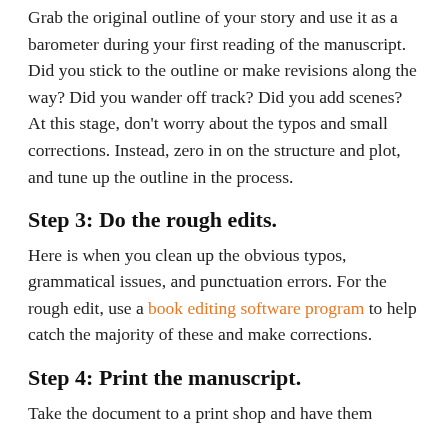Grab the original outline of your story and use it as a barometer during your first reading of the manuscript. Did you stick to the outline or make revisions along the way? Did you wander off track? Did you add scenes? At this stage, don't worry about the typos and small corrections. Instead, zero in on the structure and plot, and tune up the outline in the process.
Step 3: Do the rough edits.
Here is when you clean up the obvious typos, grammatical issues, and punctuation errors. For the rough edit, use a book editing software program to help catch the majority of these and make corrections.
Step 4: Print the manuscript.
Take the document to a print shop and have them